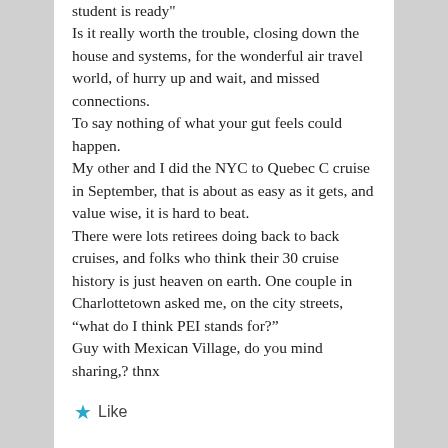student is ready"
Is it really worth the trouble, closing down the house and systems, for the wonderful air travel world, of hurry up and wait, and missed connections.
To say nothing of what your gut feels could happen.
My other and I did the NYC to Quebec C cruise in September, that is about as easy as it gets, and value wise, it is hard to beat.
There were lots retirees doing back to back cruises, and folks who think their 30 cruise history is just heaven on earth. One couple in Charlottetown asked me, on the city streets, “what do I think PEI stands for?”
Guy with Mexican Village, do you mind sharing,? thnx
Like